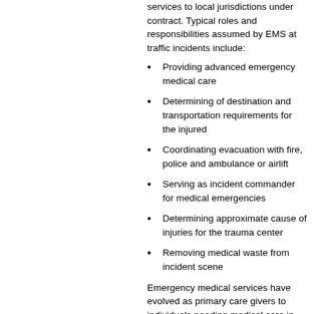services to local jurisdictions under contract. Typical roles and responsibilities assumed by EMS at traffic incidents include:
Providing advanced emergency medical care
Determining of destination and transportation requirements for the injured
Coordinating evacuation with fire, police and ambulance or airlift
Serving as incident commander for medical emergencies
Determining approximate cause of injuries for the trauma center
Removing medical waste from incident scene
Emergency medical services have evolved as primary care givers to individuals needing medical care in emergencies. As with police, emergency medical personnel have a defined set of priorities. They focus on